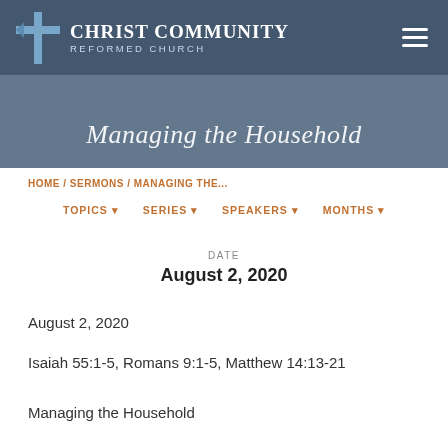[Figure (screenshot): Christ Community Reformed Church banner with cross logo and church name on dark blue background]
Managing the Household
HOME / SERMONS / MANAGING THE...
TOPICS ▾  SERIES ▾  SPEAKERS ▾  MONTHS ▾
DATE
August 2, 2020
August 2, 2020
Isaiah 55:1-5, Romans 9:1-5, Matthew 14:13-21
Managing the Household